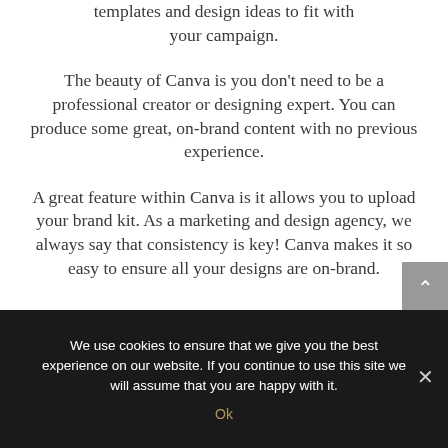templates and design ideas to fit with your campaign.
The beauty of Canva is you don't need to be a professional creator or designing expert. You can produce some great, on-brand content with no previous experience.
A great feature within Canva is it allows you to upload your brand kit. As a marketing and design agency, we always say that consistency is key! Canva makes it so easy to ensure all your designs are on-brand.
We use cookies to ensure that we give you the best experience on our website. If you continue to use this site we will assume that you are happy with it.
Ok